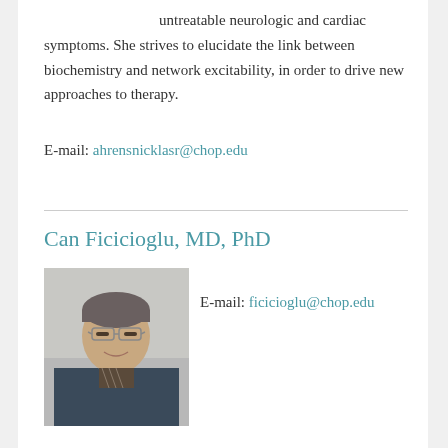untreatable neurologic and cardiac symptoms. She strives to elucidate the link between biochemistry and network excitability, in order to drive new approaches to therapy.
E-mail: ahrensnicklasr@chop.edu
Can Ficicioglu, MD, PhD
[Figure (photo): Headshot of Can Ficicioglu, a middle-aged man with glasses wearing a dark jacket, smiling]
E-mail: ficicioglu@chop.edu